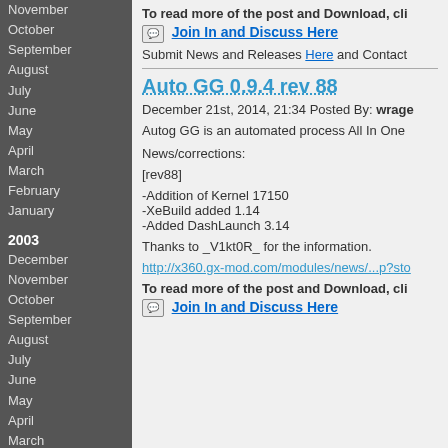November
October
September
August
July
June
May
April
March
February
January
2003
December
November
October
September
August
July
June
May
April
March
February
January
2002
December
November
October
September
August
July
June
May
April
To read more of the post and Download, cli
Join In and Discuss Here
Submit News and Releases Here and Contact
Auto GG 0.9.4 rev 88
December 21st, 2014, 21:34 Posted By: wrage
Autog GG is an automated process All In One
News/corrections:
[rev88]
-Addition of Kernel 17150
-XeBuild added 1.14
-Added DashLaunch 3.14
Thanks to _V1kt0R_ for the information.
http://x360.gx-mod.com/modules/news/...p?sto
To read more of the post and Download, cli
Join In and Discuss Here